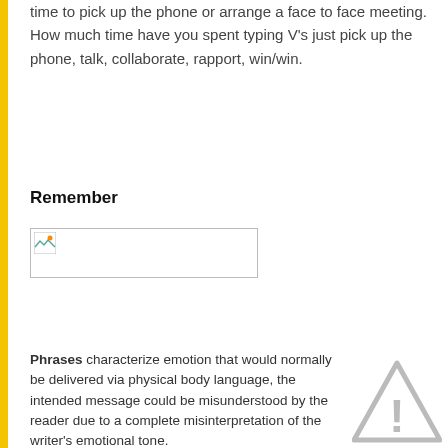time to pick up the phone or arrange a face to face meeting. How much time have you spent typing V's just pick up the phone, talk, collaborate, rapport, win/win.
Remember
[Figure (illustration): Broken/missing image placeholder with small icon in top-left corner, shown inside a rectangular border]
Phrases characterize emotion that would normally be delivered via physical body language, the intended message could be misunderstood by the reader due to a complete misinterpretation of the writer's emotional tone.
[Figure (illustration): Warning triangle icon with exclamation mark, gray colored]